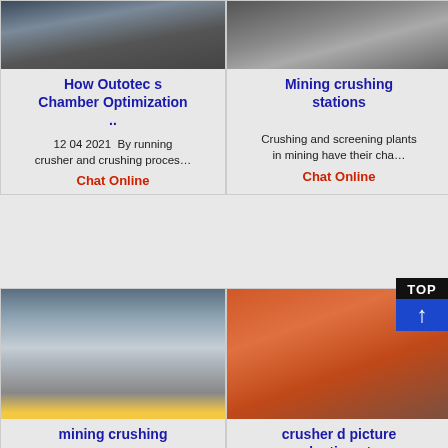[Figure (photo): Industrial crusher equipment photo (top left)]
[Figure (photo): Mining crushing station photo (top right)]
How Outotec s Chamber Optimization ..
Mining crushing stations
12 04 2021  By running crusher and crushing proces…
Crushing and screening plants in mining have their cha…
Chat Online
Chat Online
[Figure (photo): Large industrial mill/crusher equipment in factory]
[Figure (photo): Orange/red crusher component - production stone]
mining crushing
crusher d picture production stone